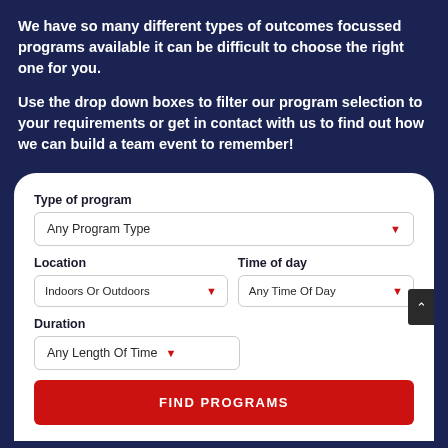We have so many different types of outcomes focussed programs available it can be difficult to choose the right one for you.
Use the drop down boxes to filter our program selection to your requirements or get in contact with us to find out how we can build a team event to remember!
[Figure (screenshot): A filter form with dropdown selectors for Type of program (Any Program Type), Location (Indoors Or Outdoors), Time of day (Any Time Of Day), Duration (Any Length Of Time), and a red FIND PROGRAMS button.]